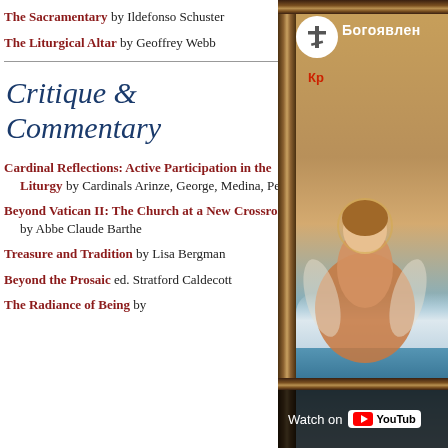The Sacramentary by Ildefonso Schuster
The Liturgical Altar by Geoffrey Webb
Critique & Commentary
Cardinal Reflections: Active Participation in the Liturgy by Cardinals Arinze, George, Medina, Pell
Beyond Vatican II: The Church at a New Crossroads by Abbe Claude Barthe
Treasure and Tradition by Lisa Bergman
Beyond the Prosaic ed. Stratford Caldecott
The Radiance of Being by
[Figure (screenshot): YouTube video thumbnail showing a Russian Orthodox icon with Cyrillic text 'Богоявлен...' and 'Кр...' with a cross logo in a white circle, framed in an ornate golden-brown frame. The icon depicts an angel figure over clouds and water. A 'Watch on YouTube' bar is shown at the bottom.]